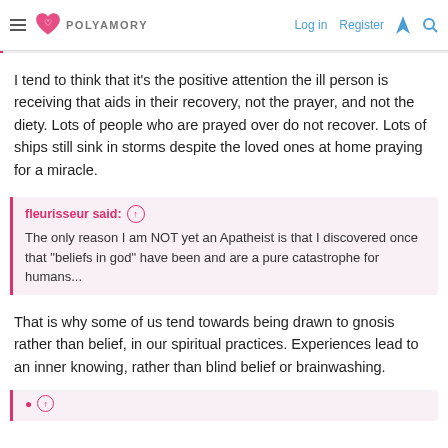POLYAMORY  Log in  Register
I tend to think that it's the positive attention the ill person is receiving that aids in their recovery, not the prayer, and not the diety. Lots of people who are prayed over do not recover. Lots of ships still sink in storms despite the loved ones at home praying for a miracle.
fleurisseur said: The only reason I am NOT yet an Apatheist is that I discovered once that "beliefs in god" have been and are a pure catastrophe for humans...
That is why some of us tend towards being drawn to gnosis rather than belief, in our spiritual practices. Experiences lead to an inner knowing, rather than blind belief or brainwashing.